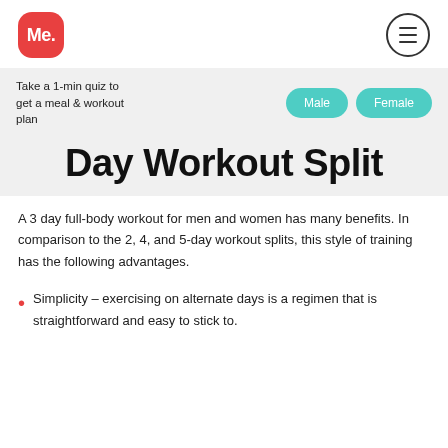Me. [logo] [menu button]
Take a 1-min quiz to get a meal & workout plan
Male   Female
Day Workout Split
A 3 day full-body workout for men and women has many benefits. In comparison to the 2, 4, and 5-day workout splits, this style of training has the following advantages.
Simplicity – exercising on alternate days is a regimen that is straightforward and easy to stick to.